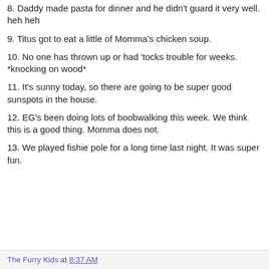8. Daddy made pasta for dinner and he didn't guard it very well. heh heh
9. Titus got to eat a little of Momma's chicken soup.
10. No one has thrown up or had 'tocks trouble for weeks. *knocking on wood*
11. It's sunny today, so there are going to be super good sunspots in the house.
12. EG's been doing lots of boobwalking this week. We think this is a good thing. Momma does not.
13. We played fishie pole for a long time last night. It was super fun.
The Furry Kids at 8:37 AM